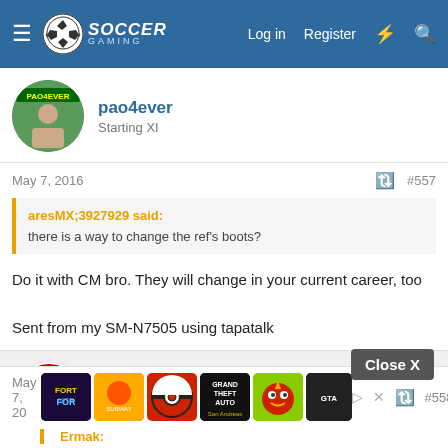Soccer Gaming — Log in  Register
pao4ever
Starting XI
May 7, 2016  #557
aresMX;3927929 said:
there is a way to change the ref's boots?
Do it with CM bro. They will change in your current career, too

Sent from my SM-N7505 using tapatalk
scouser09
Senior Squad
May 7, 20  #558
Ermak: